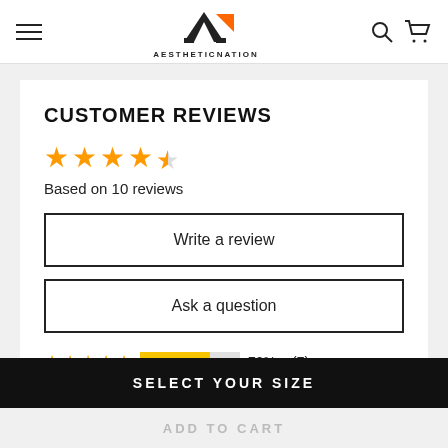AESTHETICNATION — Navigation header with hamburger menu, logo, search, and cart icons
CUSTOMER REVIEWS
Based on 10 reviews
Write a review
Ask a question
70%   (7) — 5-star rating bar
SELECT YOUR SIZE
ADD TO CART